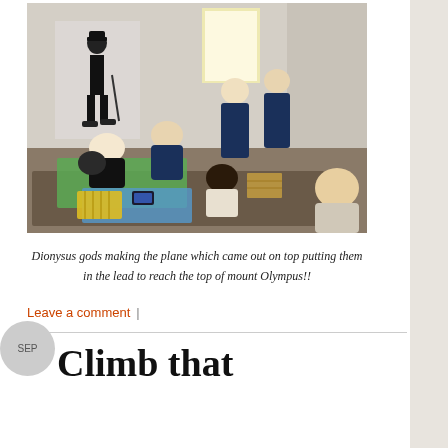[Figure (photo): Students gathered around a table working on a project in a room with a Charlie Chaplin poster on the wall and a bright window.]
Dionysus gods making the plane which came out on top putting them in the lead to reach the top of mount Olympus!!
Leave a comment  |
Climb that